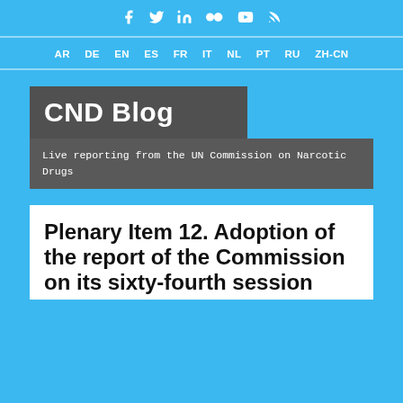Social media icons: Facebook, Twitter, LinkedIn, Flickr, YouTube, RSS
AR DE EN ES FR IT NL PT RU ZH-CN
CND Blog
Live reporting from the UN Commission on Narcotic Drugs
Plenary Item 12. Adoption of the report of the Commission on its sixty-fourth session